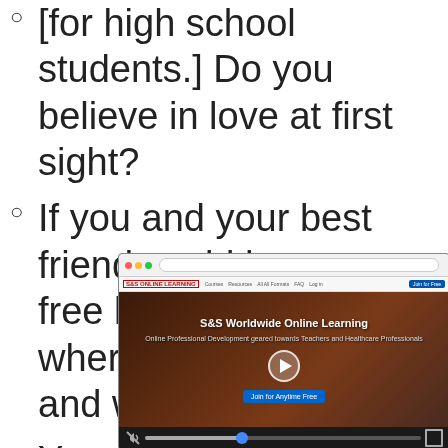[for high school students.] Do you believe in love at first sight?
If you and your best friend could have a free limo for 24 hours, where would you go and wh... do...
You... fre...
[Figure (screenshot): Screenshot of S&S Worldwide Online Learning website with video player showing a play button, progress bar, mute icon, and fullscreen button. The browser chrome and navigation bar are partially visible.]